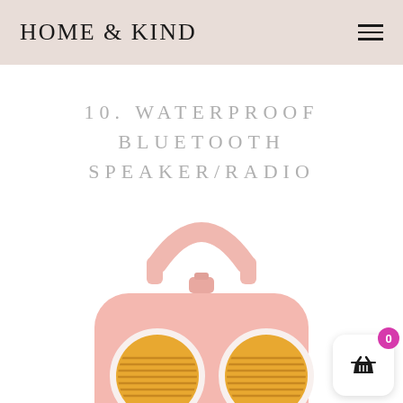HOME & KIND
10. WATERPROOF BLUETOOTH SPEAKER/RADIO
[Figure (photo): Pink waterproof Bluetooth speaker/radio with yellow circular speaker grilles and a carry handle, viewed from a slight above angle. A shopping cart badge with '0' count is overlaid in the bottom right.]